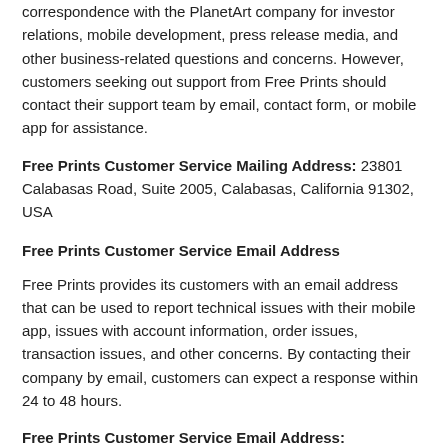correspondence with the PlanetArt company for investor relations, mobile development, press release media, and other business-related questions and concerns. However, customers seeking out support from Free Prints should contact their support team by email, contact form, or mobile app for assistance.
Free Prints Customer Service Mailing Address: 23801 Calabasas Road, Suite 2005, Calabasas, California 91302, USA
Free Prints Customer Service Email Address
Free Prints provides its customers with an email address that can be used to report technical issues with their mobile app, issues with account information, order issues, transaction issues, and other concerns. By contacting their company by email, customers can expect a response within 24 to 48 hours.
Free Prints Customer Service Email Address: support@freeprintsapp.com